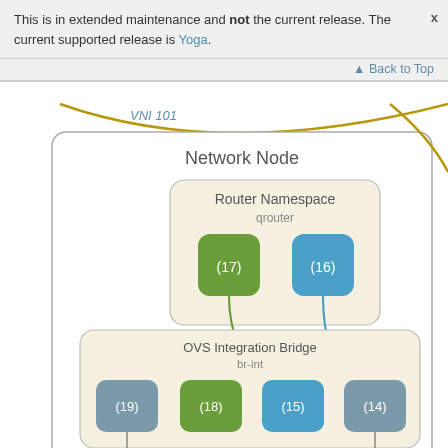This is in extended maintenance and not the current release. The current supported release is Yoga.
Back to Top
[Figure (network-graph): Network Node diagram showing Router Namespace (qrouter) with ports (17) green and (16) blue, connected to OVS Integration Bridge (br-int) with ports (19) gray, (18) green, (15) blue, (14) gray. Below are OVS Provider Bridge and OVS Tunnel Bridge. A golden arc labeled VNI 101 runs across the top. Green and blue lines connect the router ports to br-int ports.]